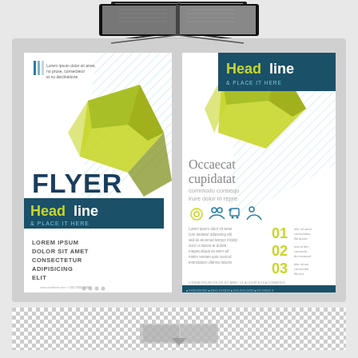[Figure (illustration): Stock image showing two flyer/brochure templates side by side on a gray background, with a book open at top and checkerboard strip at bottom. Left flyer shows geometric green/teal design with text FLYER, Headline & PLACE IT HERE, Lorem Ipsum placeholder text. Right flyer shows similar geometric design with Headline & PLACE IT HERE banner, Occaecat cupidatat commodo consequ irure dolor in repre heading, numbered list 01 02 03, icons, and lorem ipsum body text.]